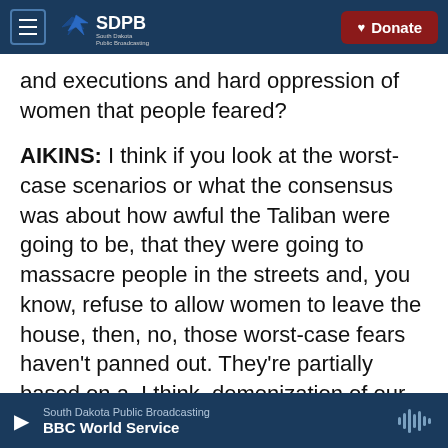SDPB South Dakota Public Broadcasting | Donate
and executions and hard oppression of women that people feared?
AIKINS: I think if you look at the worst-case scenarios or what the consensus was about how awful the Taliban were going to be, that they were going to massacre people in the streets and, you know, refuse to allow women to leave the house, then, no, those worst-case fears haven't panned out. They're partially based on a, I think, demonization of our enemy. But are they repressive? Have they committed human rights violations? Are they exclusionary? Have they rolled
South Dakota Public Broadcasting | BBC World Service